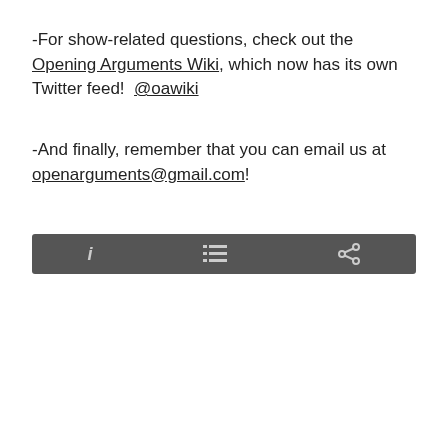-For show-related questions, check out the Opening Arguments Wiki, which now has its own Twitter feed!  @oawiki
-And finally, remember that you can email us at openarguments@gmail.com!
[Figure (other): Dark grey toolbar with three icons: info (i), list, and share]